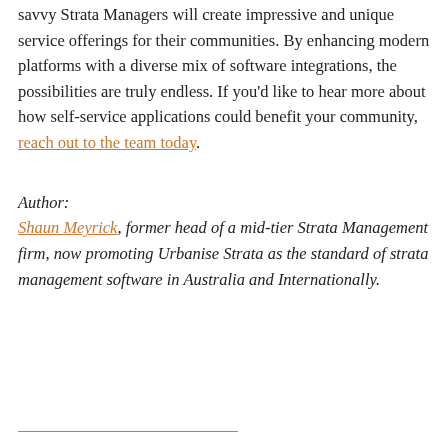savvy Strata Managers will create impressive and unique service offerings for their communities. By enhancing modern platforms with a diverse mix of software integrations, the possibilities are truly endless. If you'd like to hear more about how self-service applications could benefit your community, reach out to the team today.
Author:
Shaun Meyrick, former head of a mid-tier Strata Management firm, now promoting Urbanise Strata as the standard of strata management software in Australia and Internationally.